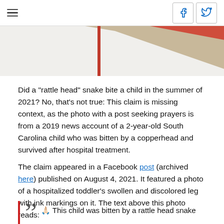Navigation header with hamburger menu and social share icons (Facebook, Twitter)
[Figure (illustration): Partial decorative image visible at top, showing red and tan/beige angular shapes against white background]
Did a "rattle head" snake bite a child in the summer of 2021? No, that's not true: This claim is missing context, as the photo with a post seeking prayers is from a 2019 news account of a 2-year-old South Carolina child who was bitten by a copperhead and survived after hospital treatment.
The claim appeared in a Facebook post (archived here) published on August 4, 2021. It featured a photo of a hospitalized toddler's swollen and discolored leg with ink markings on it. The text above this photo reads:
🙏🏻 This child was bitten by a rattle head snake